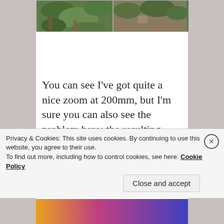[Figure (photo): Nature/outdoor photo showing green foliage and rocky terrain, split into two panels side by side]
You can see I've got quite a nice zoom at 200mm, but I'm sure you can also see the problem here: the resulting photo was blurry. One way I saved so much money here is that I bought an older version of
Privacy & Cookies: This site uses cookies. By continuing to use this website, you agree to their use.
To find out more, including how to control cookies, see here: Cookie Policy
Close and accept